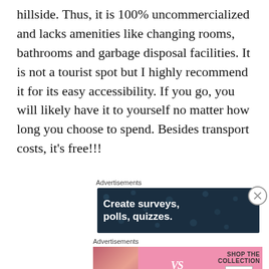hillside. Thus, it is 100% uncommercialized and lacks amenities like changing rooms, bathrooms and garbage disposal facilities. It is not a tourist spot but I highly recommend it for its easy accessibility. If you go, you will likely have it to yourself no matter how long you choose to spend. Besides transport costs, it's free!!!
Advertisements
[Figure (other): Advertisement banner with dark blue/teal background showing text 'Create surveys, polls, quizzes.']
Advertisements
[Figure (other): Victoria's Secret advertisement showing a model and text 'SHOP THE COLLECTION' with a 'SHOP NOW' button]